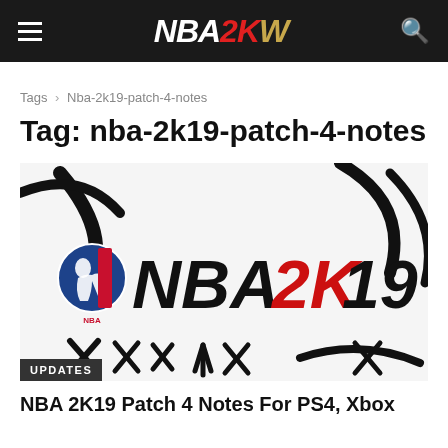NBA2KW
Tags › Nba-2k19-patch-4-notes
Tag: nba-2k19-patch-4-notes
[Figure (photo): NBA 2K19 game cover art showing large NBA 2K19 logo in black and red on a white background with brushstroke basketball court markings and symbols. An UPDATES label appears at the bottom left.]
NBA 2K19 Patch 4 Notes For PS4, Xbox